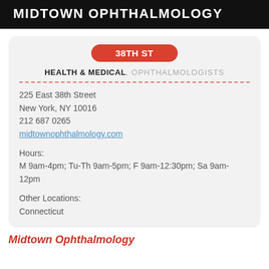MIDTOWN OPHTHALMOLOGY
38th ST
HEALTH & MEDICAL, OPHTHALMOLOGISTS
225 East 38th Street
New York, NY 10016
212 687 0265
midtownophthalmology.com
Hours:
M 9am-4pm; Tu-Th 9am-5pm; F 9am-12:30pm; Sa 9am-12pm
Other Locations:
Connecticut
Midtown Ophthalmology